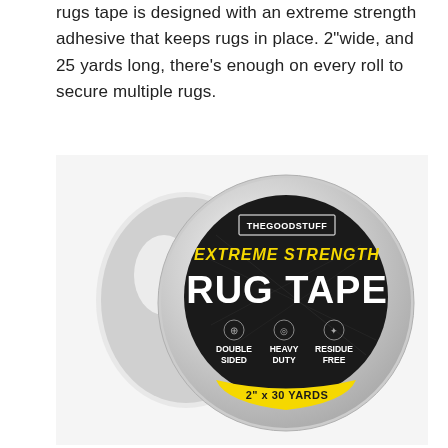rugs tape is designed with an extreme strength adhesive that keeps rugs in place. 2"wide, and 25 yards long, there's enough on every roll to secure multiple rugs.
[Figure (photo): A roll of The Good Stuff Extreme Strength Rug Tape. The roll is silver/white with a black circular label in the center. The label reads 'THEGOODSTUFF' at top, 'EXTREME STRENGTH' in yellow text, 'RUG TAPE' in large white bold text, and features three icons: Double Sided, Heavy Duty, Residue Free. A yellow banner at the bottom says '2" x 30 YARDS'.]